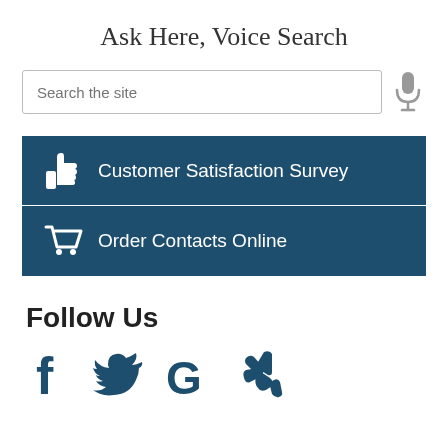Ask Here, Voice Search
[Figure (screenshot): Search bar with placeholder text 'Search the site' and a microphone icon to the right]
[Figure (infographic): Two dark navy button bars: first with thumbs-up icon and 'Customer Satisfaction Survey', second with shopping cart icon and 'Order Contacts Online']
Follow Us
[Figure (infographic): Social media icons: Facebook (f), Twitter (bird), Google (G), Yelp (y-fork)]